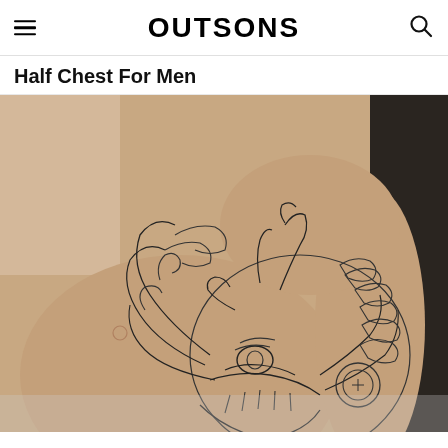OUTSONS
Half Chest For Men
[Figure (photo): Close-up photograph of a man's chest and arm showing a detailed Japanese-style dragon tattoo in black outline, covering the chest, shoulder, and sleeve area. The tattoo features a dragon head with open mouth, scales, and flowing mane elements.]